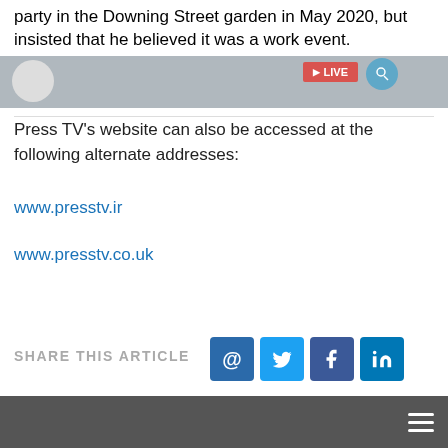[Figure (screenshot): Top strip showing news article text and LIVE badge overlay on gray background]
party in the Downing Street garden in May 2020, but insisted that he believed it was a work event.
Press TV’s website can also be accessed at the following alternate addresses:
www.presstv.ir
www.presstv.co.uk
SHARE THIS ARTICLE
Downing Street
COVID-19 lockdowns